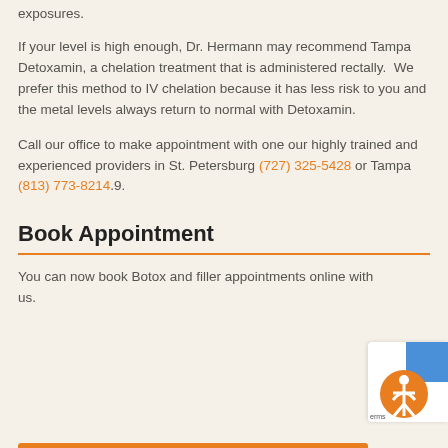exposures.
If your level is high enough, Dr. Hermann may recommend Tampa Detoxamin, a chelation treatment that is administered rectally.  We prefer this method to IV chelation because it has less risk to you and the metal levels always return to normal with Detoxamin.
Call our office to make appointment with one our highly trained and experienced providers in St. Petersburg (727) 325-5428 or Tampa (813) 773-8214.9.
Book Appointment
You can now book Botox and filler appointments online with us.